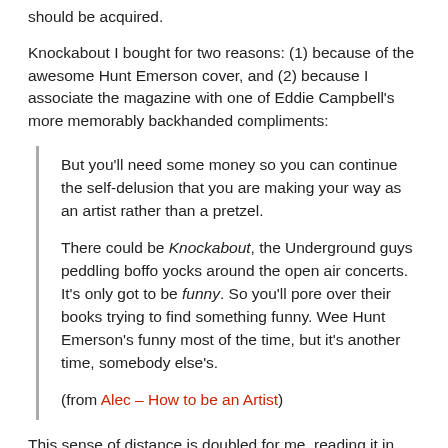should be acquired.
Knockabout I bought for two reasons: (1) because of the awesome Hunt Emerson cover, and (2) because I associate the magazine with one of Eddie Campbell's more memorably backhanded compliments:
But you'll need some money so you can continue the self-delusion that you are making your way as an artist rather than a pretzel.

There could be Knockabout, the Underground guys peddling boffo yocks around the open air concerts. It's only got to be funny. So you'll pore over their books trying to find something funny. Wee Hunt Emerson's funny most of the time, but it's another time, somebody else's.

(from Alec – How to be an Artist)
This sense of distance is doubled for me, reading it in 2011, but there's no denying the gloopy appeal of Emerson's imagery. His degenerate doodles look like the bogroll-babies of the Zap Comix